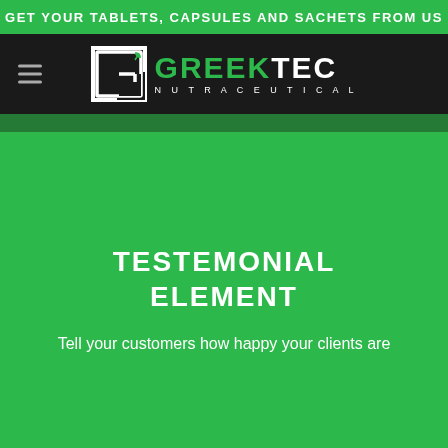GET YOUR TABLETS, CAPSULES AND SACHETS FROM US
[Figure (logo): Greektec Nutraceutical logo with hamburger menu icon on black navigation bar]
TESTEMONIAL ELEMENT
Tell your customers how happy your clients are